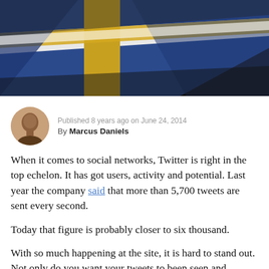[Figure (photo): Banner image showing flags with blue, white, and yellow/gold colors, close-up angled view against dark background]
Published 8 years ago on June 24, 2014
By Marcus Daniels
When it comes to social networks, Twitter is right in the top echelon. It has got users, activity and potential. Last year the company said that more than 5,700 tweets are sent every second.
Today that figure is probably closer to six thousand.
With so much happening at the site, it is hard to stand out. Not only do you want your tweets to been seen and noticed, but a successful social media strategy demands that people engage with them. You need to strive for maximum impact here in terms of reads, clicks and shares.